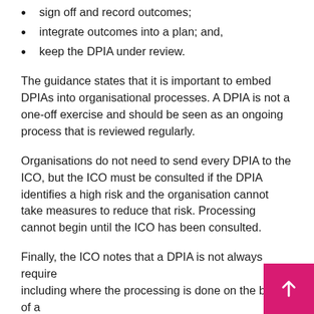sign off and record outcomes;
integrate outcomes into a plan; and,
keep the DPIA under review.
The guidance states that it is important to embed DPIAs into organisational processes. A DPIA is not a one-off exercise and should be seen as an ongoing process that is reviewed regularly.
Organisations do not need to send every DPIA to the ICO, but the ICO must be consulted if the DPIA identifies a high risk and the organisation cannot take measures to reduce that risk. Processing cannot begin until the ICO has been consulted.
Finally, the ICO notes that a DPIA is not always required, including where the processing is done on the basis of a legal obligation or public task or where a substantially similar DPIA has already been carried. However, "you need